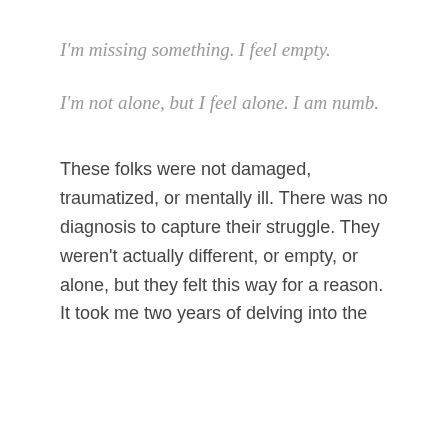I'm missing something.
I feel empty.
I'm not alone, but I feel alone.
I am numb.
These folks were not damaged, traumatized, or mentally ill. There was no diagnosis to capture their struggle. They weren't actually different, or empty, or alone, but they felt this way for a reason. It took me two years of delving into the